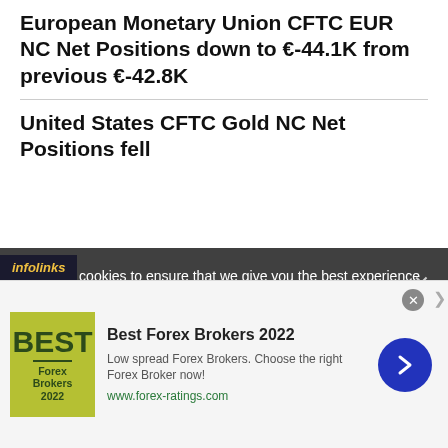European Monetary Union CFTC EUR NC Net Positions down to €-44.1K from previous €-42.8K
United States CFTC Gold NC Net Positions fell
We use cookies to ensure that we give you the best experience on our website. If you continue to use this site we will assume that you are happy with it. We and our partners store and/or access information on a device, such as unique IDs in cookies to process personal data. You may accept or manage your choices by clicking below, including your right to object where legitimate interest is used, or at any time in the privacy policy page. These choices will be signalled to our partners and will not affect browsing data. We and our partners process data to provide: Use precise geolocation data. Actively scan device characteristics for identification. Store and/or
[Figure (screenshot): infolinks advertisement bar]
[Figure (infographic): Best Forex Brokers 2022 advertisement banner with logo, description 'Low spread Forex Brokers. Choose the right Forex Broker now!' and URL www.forex-ratings.com]